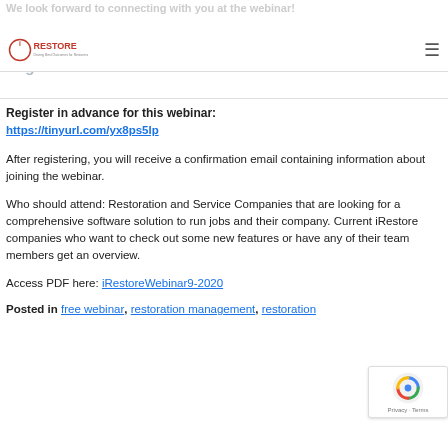We look forward to connecting with you at the webinar!
[Figure (logo): iRestore logo - circular icon with letter i and text RESTORE]
Registration Instructions:
Register in advance for this webinar: https://tinyurl.com/yx8ps5lp
After registering, you will receive a confirmation email containing information about joining the webinar.
Who should attend: Restoration and Service Companies that are looking for a comprehensive software solution to run jobs and their company. Current iRestore companies who want to check out some new features or have any of their team members get an overview.
Access PDF here: iRestoreWebinar9-2020
Posted in free webinar, restoration management, restoration